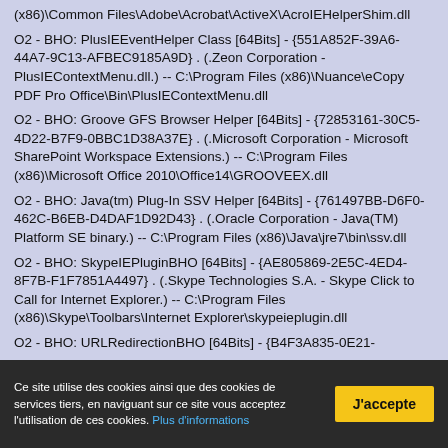(x86)\Common Files\Adobe\Acrobat\ActiveX\AcroIEHelperShim.dll
O2 - BHO: PlusIEEventHelper Class [64Bits] - {551A852F-39A6-44A7-9C13-AFBEC9185A9D} . (.Zeon Corporation - PlusIEContextMenu.dll.) -- C:\Program Files (x86)\Nuance\eCopy PDF Pro Office\Bin\PlusIEContextMenu.dll
O2 - BHO: Groove GFS Browser Helper [64Bits] - {72853161-30C5-4D22-B7F9-0BBC1D38A37E} . (.Microsoft Corporation - Microsoft SharePoint Workspace Extensions.) -- C:\Program Files (x86)\Microsoft Office 2010\Office14\GROOVEEX.dll
O2 - BHO: Java(tm) Plug-In SSV Helper [64Bits] - {761497BB-D6F0-462C-B6EB-D4DAF1D92D43} . (.Oracle Corporation - Java(TM) Platform SE binary.) -- C:\Program Files (x86)\Java\jre7\bin\ssv.dll
O2 - BHO: SkypeIEPluginBHO [64Bits] - {AE805869-2E5C-4ED4-8F7B-F1F7851A4497} . (.Skype Technologies S.A. - Skype Click to Call for Internet Explorer.) -- C:\Program Files (x86)\Skype\Toolbars\Internet Explorer\skypeieplugin.dll
Ce site utilise des cookies ainsi que des cookies de services tiers, en naviguant sur ce site vous acceptez l'utilisation de ces cookies. Plus d'informations